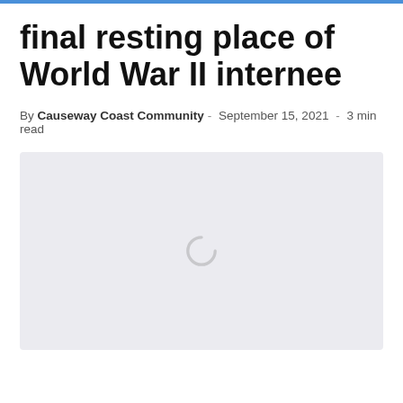final resting place of World War II internee
By Causeway Coast Community - September 15, 2021 - 3 min read
[Figure (photo): Image loading placeholder with spinner icon on light gray background]